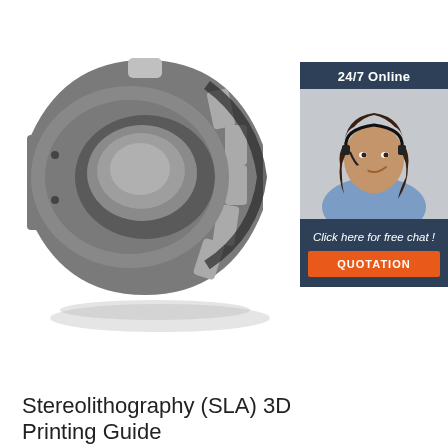[Figure (photo): 3D rendered image of a cylindrical roller bearing assembly with metallic grey and dark coloring, showing the outer race, inner race, and roller elements.]
[Figure (photo): Advertisement sidebar showing a smiling woman with a headset (customer support agent), dark blue background, with '24/7 Online' header, 'Click here for free chat!' text, and an orange 'QUOTATION' button.]
Stereolithography (SLA) 3D Printing Guide